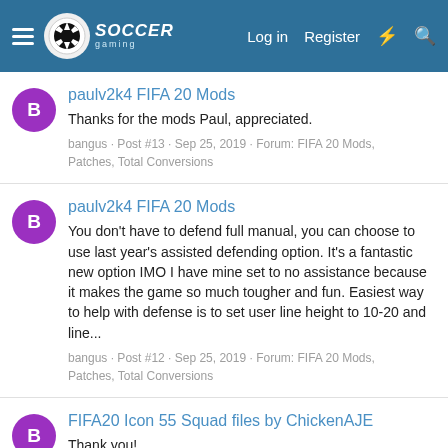Soccer Gaming — Log in · Register
paulv2k4 FIFA 20 Mods
Thanks for the mods Paul, appreciated.
bangus · Post #13 · Sep 25, 2019 · Forum: FIFA 20 Mods, Patches, Total Conversions
paulv2k4 FIFA 20 Mods
You don't have to defend full manual, you can choose to use last year's assisted defending option. It's a fantastic new option IMO I have mine set to no assistance because it makes the game so much tougher and fun. Easiest way to help with defense is to set user line height to 10-20 and line...
bangus · Post #12 · Sep 25, 2019 · Forum: FIFA 20 Mods, Patches, Total Conversions
FIFA20 Icon 55 Squad files by ChickenAJE
Thank you!
bangus · Post #11 · Sep 22, 2019 · Forum: FIFA 20 Forum
paulv2k4 FIFA 19 Mods